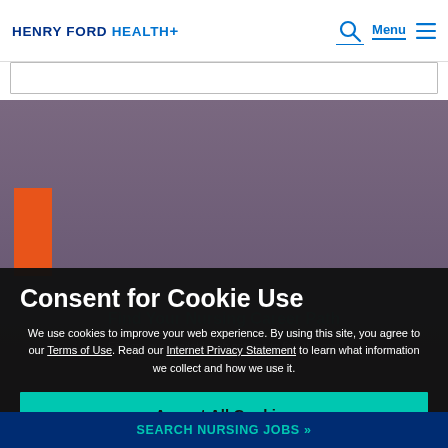HENRY FORD HEALTH+
[Figure (screenshot): Henry Ford Health website screenshot with orange accent bar and dark hero background showing 'Find Your Nursing Career Path' heading and explore text behind cookie consent overlay]
Consent for Cookie Use
We use cookies to improve your web experience. By using this site, you agree to our Terms of Use. Read our Internet Privacy Statement to learn what information we collect and how we use it.
Accept All Cookies
Search Nursing Jobs »